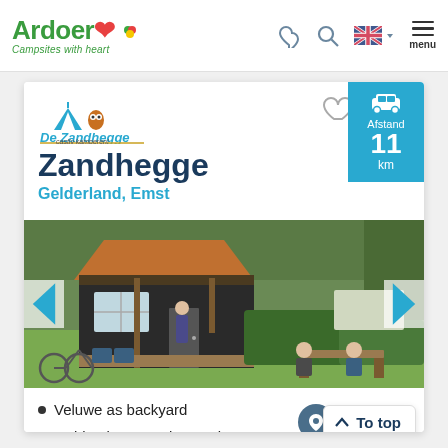Ardoer — Campsites with heart
[Figure (logo): De Zandhegge campsite logo with tent and owl icons]
Zandhegge
Gelderland, Emst
[Figure (photo): Photo of a wooden cabin/chalet at the Zandhegge campsite with people sitting at a picnic table outside and a bicycle in the foreground]
Veluwe as backyard
Inside playground "Heggies